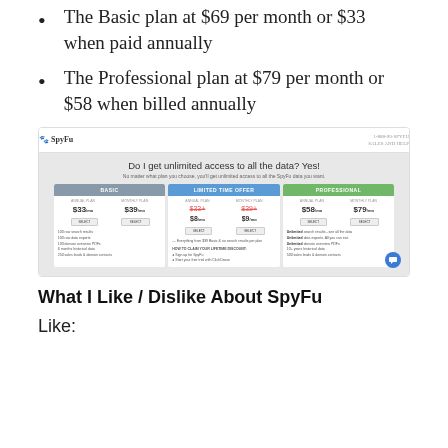The Basic plan at $69 per month or $33 when paid annually
The Professional plan at $79 per month or $58 when billed annually
[Figure (screenshot): Screenshot of SpyFu pricing page showing Basic, Limited Time Offer, and Professional plans with prices $33/$39 for Basic, $8/$9 for Limited Offer, $58/$79 for Professional]
What I Like / Dislike About SpyFu
Like: